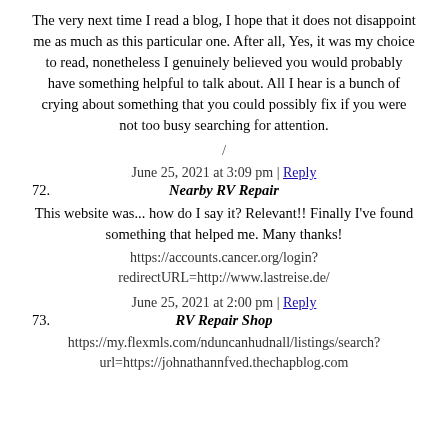The very next time I read a blog, I hope that it does not disappoint me as much as this particular one. After all, Yes, it was my choice to read, nonetheless I genuinely believed you would probably have something helpful to talk about. All I hear is a bunch of crying about something that you could possibly fix if you were not too busy searching for attention.
/
June 25, 2021 at 3:09 pm | Reply
72. Nearby RV Repair
This website was... how do I say it? Relevant!! Finally I've found something that helped me. Many thanks!
https://accounts.cancer.org/login?redirectURL=http://www.lastreise.de/
June 25, 2021 at 2:00 pm | Reply
73. RV Repair Shop
https://my.flexmls.com/nduncanhudnall/listings/search?url=https://johnathannfved.thechapblog.com